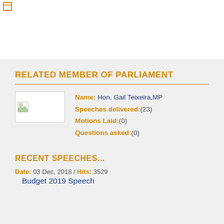RELATED MEMBER OF PARLIAMENT
Name: Hon. Gail Teixeira,MP
Speeches delivered:(23)
Motions Laid:(0)
Questions asked:(0)
RECENT SPEECHES...
Date: 03 Dec, 2018 / Hits: 3529
Budget 2019 Speech